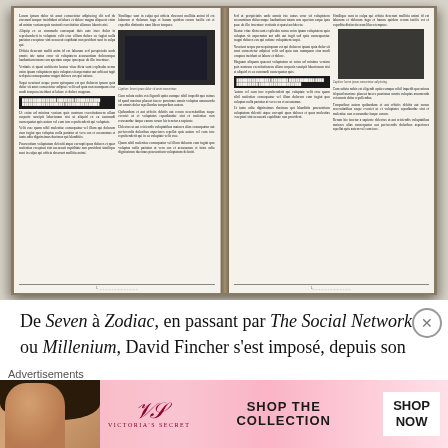[Figure (photo): Open book spread showing two pages of a French-language magazine article about David Fincher, with multiple columns of small text, black-and-white photographs embedded in the text columns, and highlighted/redacted text blocks.]
De Seven à Zodiac, en passant par The Social Network ou Millenium, David Fincher s'est imposé, depuis son émergence à l'aube des années quatre-vingt-dix, comme l'un des cinéastes les plus accomplis
Advertisements
[Figure (photo): Victoria's Secret advertisement banner featuring a woman's face on the left, the VS logo in the center-left, 'SHOP THE COLLECTION' text in bold, and a 'SHOP NOW' white button on the right. Pink gradient background.]